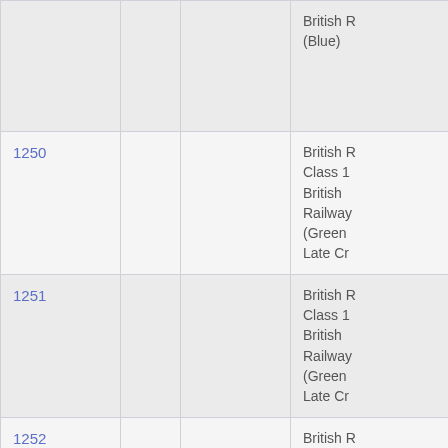| ID |  |  | Description |
| --- | --- | --- | --- |
|  |  |  | British R
(Blue) |
| 1250 |  |  | British R
Class 1
British
Railway
(Green
Late Cr |
| 1251 |  |  | British R
Class 1
British
Railway
(Green
Late Cr |
| 1252 |  |  | British R
Class 1 |